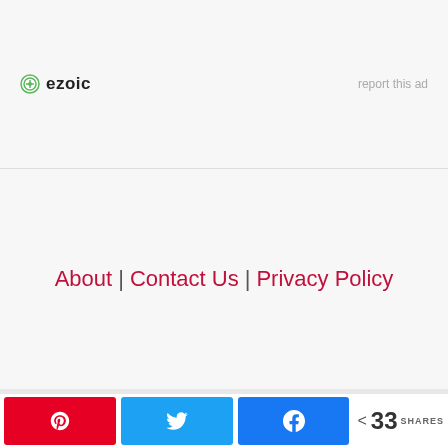[Figure (logo): Ezoic logo with green circular icon and bold 'ezoic' text, alongside 'report this ad' link in gray]
About | Contact Us | Privacy Policy
Copyright © 2022 Foxy and Keen
< 33 SHARES